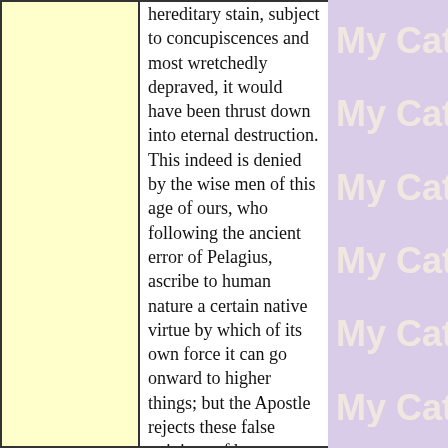hereditary stain, subject to concupiscences and most wretchedly depraved, it would have been thrust down into eternal destruction. This indeed is denied by the wise men of this age of ours, who following the ancient error of Pelagius, ascribe to human nature a certain native virtue by which of its own force it can go onward to higher things; but the Apostle rejects these false opinions of human pride, admonishing us that we 'were by nature children of wrath' (Ephesians ii, 3). And indeed, even from the beginning, men in a manner acknowledged this
[Figure (illustration): Repeating 'My Catho' watermark text on purple/lavender background, appearing 6 times vertically on the right side of the page]